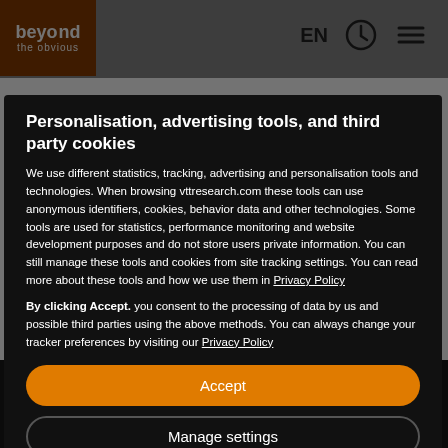[Figure (screenshot): Website header with 'beyond the obvious' logo on orange background, 'EN' text, clock icon, and hamburger menu icon on gray background]
Personalisation, advertising tools, and third party cookies
We use different statistics, tracking, advertising and personalisation tools and technologies. When browsing vttresearch.com these tools can use anonymous identifiers, cookies, behavior data and other technologies. Some tools are used for statistics, performance monitoring and website development purposes and do not store users private information. You can still manage these tools and cookies from site tracking settings. You can read more about these tools and how we use them in Privacy Policy
By clicking Accept. you consent to the processing of data by us and possible third parties using the above methods. You can always change your tracker preferences by visiting our Privacy Policy
Accept
Manage settings
Katariina Torvinen